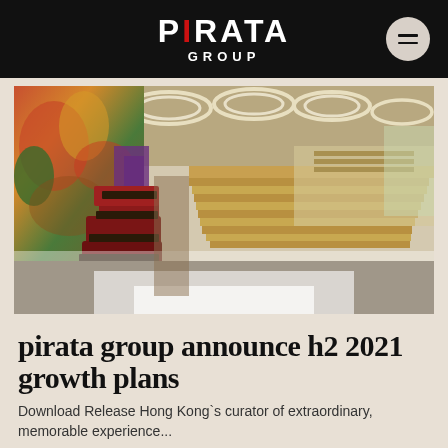PIRATA GROUP
[Figure (illustration): Interior rendering of a restaurant with circular pendant lights on the ceiling, colorful mural wall on the left, purple and red seating, wooden booth seating on the right, and a bar area in the background.]
pirata group announce h2 2021 growth plans
Download Release Hong Kong`s curator of extraordinary, memorable experience...